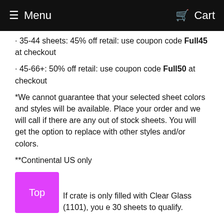Menu   Cart
· 35-44 sheets: 45% off retail: use coupon code Full45 at checkout
· 45-66+: 50% off retail: use coupon code Full50 at checkout
*We cannot guarantee that your selected sheet colors and styles will be available. Place your order and we will call if there are any out of stock sheets. You will get the option to replace with other styles and/or colors.
**Continental US only
If crate is only filled with Clear Glass (1101), you e 30 sheets to qualify.